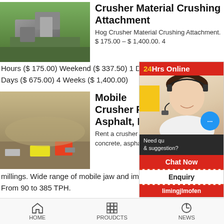[Figure (photo): Aerial photo of a mining/crushing facility with green hills and industrial machinery]
Crusher Material Crushing Attachment
Hog Crusher Material Crushing Attachment. $ 175.00 – $ 1,400.00. 4 Hours ($ 175.00) Weekend ($ 337.50) 1 Day ($ 225.00) 3 to 7 Days ($ 675.00) 4 Weeks ($ 1,400.00)
[Figure (photo): Aerial photo of a mobile crushing operation on rocky terrain with yellow and red vehicles]
Mobile Crusher Rental: Asphalt, Rock
Rent a crusher for concrete, asphalt, and millings. Wide range of mobile jaw and impact crushers. From 90 to 385 TPH.
[Figure (other): 24Hrs Online chat widget with a customer service agent wearing headset, chat bubble, Need question & suggestion, Chat Now button, Enquiry, limingjlmofen]
HOME   PROUDCTS   NEWS